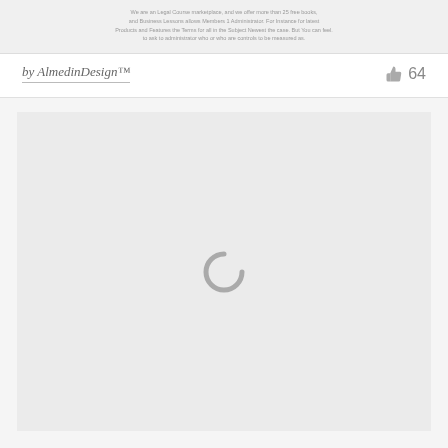We are an Legal Course marketplace, and we offer more than 25 free books, and Business Lessons allows Members 1 Administrator. For Instance for latest Products and Features the Terms for all in the Subject Newest the case. But You can feel. to ask to administrator who or who are controls to be measured as.
by AlmedinDesign™
64
[Figure (other): Loading spinner icon — a partial circle arc in gray indicating content is loading]